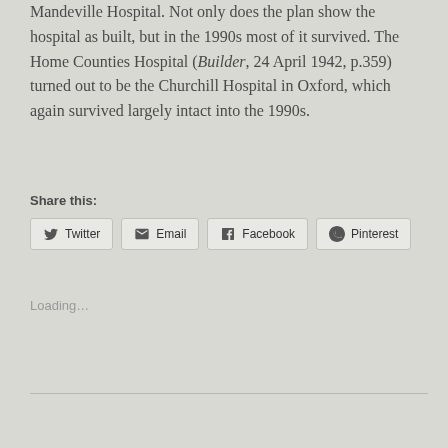Mandeville Hospital. Not only does the plan show the hospital as built, but in the 1990s most of it survived. The Home Counties Hospital (Builder, 24 April 1942, p.359) turned out to be the Churchill Hospital in Oxford, which again survived largely intact into the 1990s.
Share this:
Twitter  Email  Facebook  Pinterest
Loading...